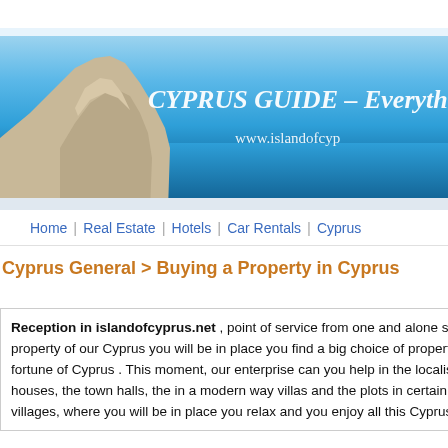[Figure (photo): Cyprus Guide website banner with scenic photo of Aphrodite's Rock (Petra tou Romiou) on the left, blue sky and sea background, white italic text reading 'CYPRUS GUIDE – Everything about C' and 'www.islandofcyp' on the right]
Home | Real Estate | Hotels | Car Rentals | Cyprus
Cyprus General > Buying a Property in Cyprus
Reception in islandofcyprus.net , point of service from one and alone service in the property of Cyprus and the motionless fortune. In the region of property of our Cyprus you will be in place you find a big choice of property of Cyprus for the sale as well as the relative information on the motionless fortune of Cyprus . This moment, our enterprise can you help in the localisation of attributes of Cyprus for the sale as the spacious modern apartments, the houses, the town halls, the in a modern way villas and the plots in certain from the more beautiful and graphic regions in Paphos and the environments villages, where you will be in place you relax and you enjoy all this Cyprus she should they offer.